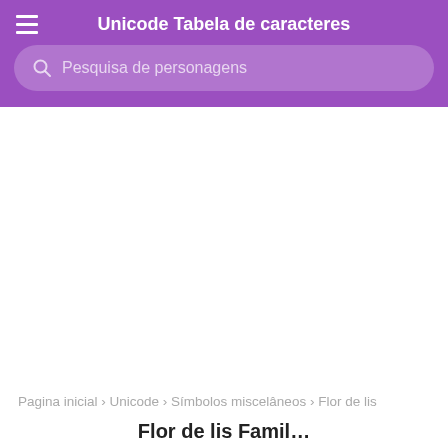Unicode Tabela de caracteres
Pesquisa de personagens
Pagina inicial › Unicode › Símbolos miscelâneos › Flor de lis
Flor de lis Famil…